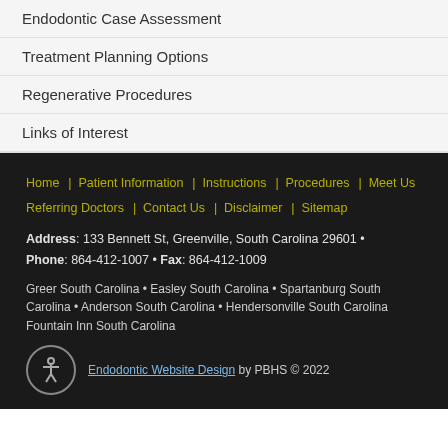Endodontic Case Assessment
Treatment Planning Options
Regenerative Procedures
Links of Interest
Home | Patient Information | Instructions | Procedures | Meet Us | Referring Doctors | Contact Us | Disclaimer | Sitemap
Address: 133 Bennett St, Greenville, South Carolina 29601 • Phone: 864-412-1007 • Fax: 864-412-1009
Greer South Carolina • Easley South Carolina • Spartanburg South Carolina • Anderson South Carolina • Hendersonville South Carolina
Fountain Inn South Carolina
Endodontic Website Design by PBHS © 2022